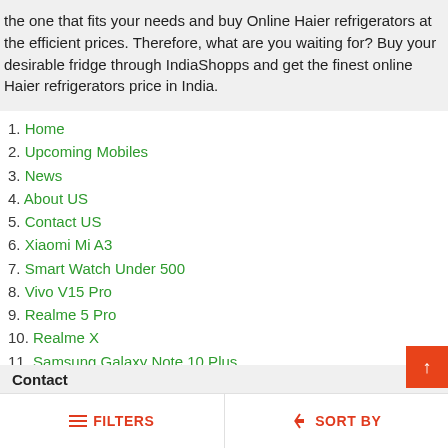the one that fits your needs and buy Online Haier refrigerators at the efficient prices. Therefore, what are you waiting for? Buy your desirable fridge through IndiaShopps and get the finest online Haier refrigerators price in India.
1. Home
2. Upcoming Mobiles
3. News
4. About US
5. Contact US
6. Xiaomi Mi A3
7. Smart Watch Under 500
8. Vivo V15 Pro
9. Realme 5 Pro
10. Realme X
11. Samsung Galaxy Note 10 Plus
12. Careers
13. 42 Inch LED TV
14. Phones Below 5000
15. Mobile and Broadband Recharge Plans
Contact
FILTERS   SORT BY